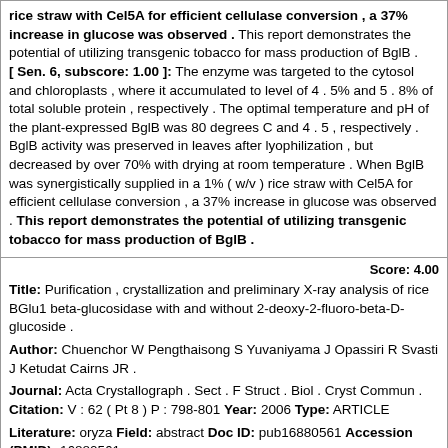rice straw with Cel5A for efficient cellulase conversion , a 37% increase in glucose was observed . This report demonstrates the potential of utilizing transgenic tobacco for mass production of BglB . [ Sen. 6, subscore: 1.00 ]: The enzyme was targeted to the cytosol and chloroplasts , where it accumulated to level of 4 . 5% and 5 . 8% of total soluble protein , respectively . The optimal temperature and pH of the plant-expressed BglB was 80 degrees C and 4 . 5 , respectively . BglB activity was preserved in leaves after lyophilization , but decreased by over 70% with drying at room temperature . When BglB was synergistically supplied in a 1% ( w/v ) rice straw with Cel5A for efficient cellulase conversion , a 37% increase in glucose was observed . This report demonstrates the potential of utilizing transgenic tobacco for mass production of BglB .
Score: 4.00
Title: Purification , crystallization and preliminary X-ray analysis of rice BGlu1 beta-glucosidase with and without 2-deoxy-2-fluoro-beta-D-glucoside .
Author: Chuenchor W Pengthaisong S Yuvaniyama J Opassiri R Svasti J Ketudat Cairns JR .
Journal: Acta Crystallograph . Sect . F Struct . Biol . Cryst Commun . Citation: V : 62 ( Pt 8 ) P : 798-801 Year: 2006 Type: ARTICLE
Literature: oryza Field: abstract Doc ID: pub16880561 Accession (PMID): 16880561
Matching Sentences: [ Sen. 1, subscore: 1.00 ]: Rice ( Oryza sativa ) BGlu1 beta-glucosidase was expressed in Escherichia coli with N-terminal thioredoxin and hexahistidine tags and purified by immobilized metal affinity chromatography .